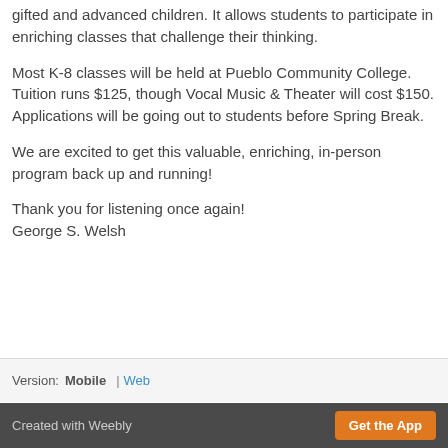gifted and advanced children. It allows students to participate in enriching classes that challenge their thinking.
Most K-8 classes will be held at Pueblo Community College. Tuition runs $125, though Vocal Music & Theater will cost $150. Applications will be going out to students before Spring Break.
We are excited to get this valuable, enriching, in-person program back up and running!
Thank you for listening once again!
George S. Welsh
Version: Mobile | Web
Created with Weebly  Get the App